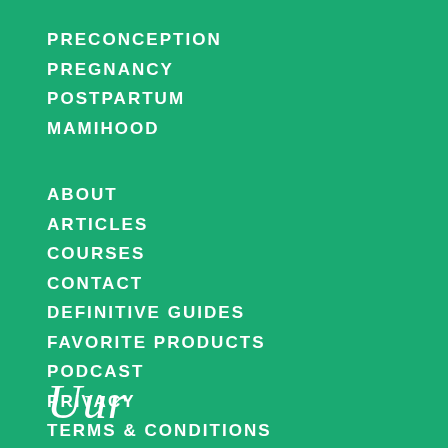PRECONCEPTION
PREGNANCY
POSTPARTUM
MAMIHOOD
ABOUT
ARTICLES
COURSES
CONTACT
DEFINITIVE GUIDES
FAVORITE PRODUCTS
PODCAST
PRIVACY
TERMS & CONDITIONS
[Figure (logo): Cursive/script logo text in white at the bottom left of the page]